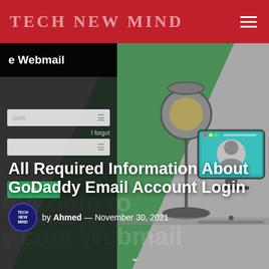TECH NEW MIND
[Figure (screenshot): GoDaddy Webmail login form and office illustration with lamp and computer monitor on grey/green background]
All Required Information About GoDaddy Email Account Login
by Ahmed — November 30, 2021